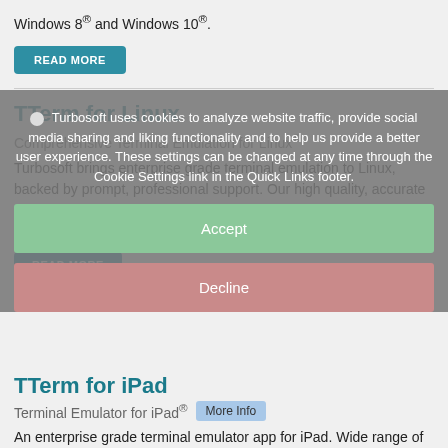Windows 8® and Windows 10®.
READ MORE
TTerm for Linux
Comprehensive Terminal Emulation for Linux®
Turbosoft brings enterprise grade terminal emulation to Linux, backed by prompt, professional support. Our high quality, accurate and reliable terminal emulation software is now available for Linux operating systems.
READ MORE
Turbosoft uses cookies to analyze website traffic, provide social media sharing and liking functionality and to help us provide a better user experience. These settings can be changed at any time through the Cookie Settings link in the Quick Links footer.
Accept
Decline
TTerm for iPad
Terminal Emulator for iPad®
An enterprise grade terminal emulator app for iPad. Wide range of